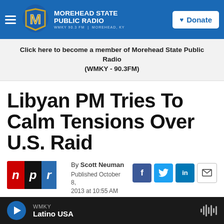Morehead State Public Radio — WMKY 90.3 FM | Morehead, KY
Click here to become a member of Morehead State Public Radio (WMKY - 90.3FM)
Libyan PM Tries To Calm Tensions Over U.S. Raid
By Scott Neuman
Published October 8, 2013 at 10:55 AM EDT
[Figure (logo): NPR logo with red N, black P, blue R blocks]
[Figure (photo): Dark image strip at bottom of article area]
WMKY — Latino USA (audio player bar)